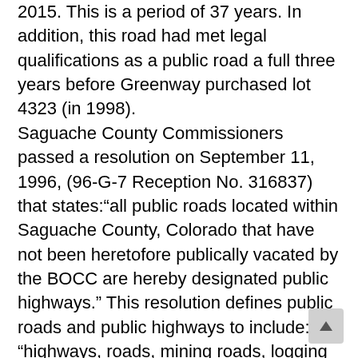2015. This is a period of 37 years. In addition, this road had met legal qualifications as a public road a full three years before Greenway purchased lot 4323 (in 1998). Saguache County Commissioners passed a resolution on September 11, 1996, (96-G-7 Reception No. 316837) that states:“all public roads located within Saguache County, Colorado that have not been heretofore publically vacated by the BOCC are hereby designated public highways.” This resolution defines public roads and public highways to include: “highways, roads, mining roads, logging roads, wagon roads, trails, horse trails, hiking trails, and footpaths.” CRS 30-28-110 1(d) states: “The acceptance, widening, removal, extension, relocation, narrowing, vacation, abandonment, change of use, or sale or lease of or acquisition of land for any